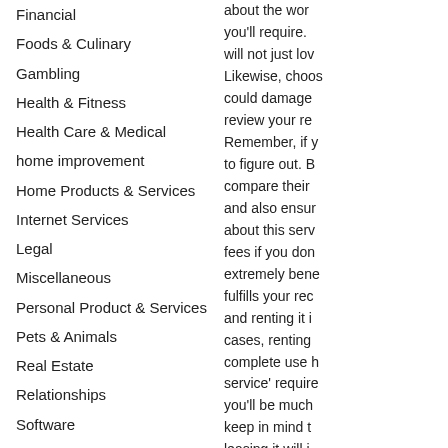Financial
Foods & Culinary
Gambling
Health & Fitness
Health Care & Medical
home improvement
Home Products & Services
Internet Services
Legal
Miscellaneous
Personal Product & Services
Pets & Animals
Real Estate
Relationships
Software
Sports & Athletics
Technology
Travel
Web Resources
about the wor you'll require. will not just lov Likewise, choos could damage review your re Remember, if y to figure out. B compare their and also ensur about this serv fees if you don extremely bene fulfills your rec and renting it i cases, renting complete use h service' require you'll be much keep in mind t leasing it will j heavy tools, co